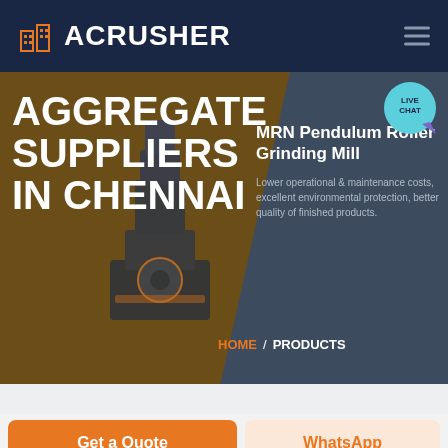ACRUSHER
AGGREGATE SUPPLIERS IN CHENNAI
MRN Pendulum Roller Grinding Mill
Lower operational & maintenance costs, excellent environmental protection, better quality of finished products.
HOME / PRODUCTS
LIVE CHAT
Get a Quote
WhatsApp